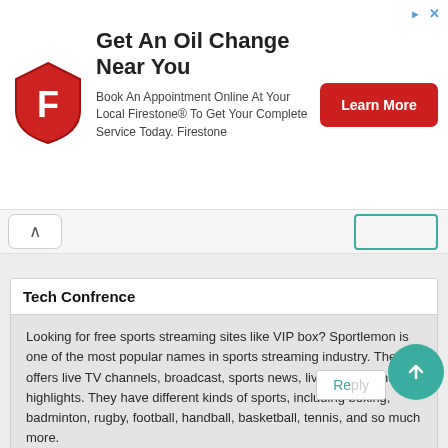[Figure (advertisement): Firestone oil change advertisement banner with red shield logo, headline 'Get An Oil Change Near You', subtext about booking online at Firestone, and a red 'Learn More' button]
Looking for free sports streaming sites like VIP box? Sportlemon is one of the most popular names in sports streaming industry. The site offers live TV channels, broadcast, sports news, live scores, and highlights. They have different kinds of sports, including boxing, badminton, rugby, football, handball, basketball, tennis, and so much more.
Tech Confrence